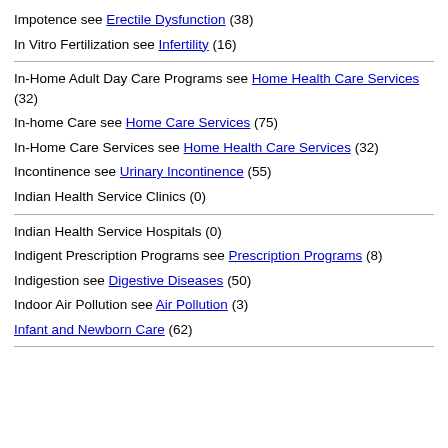Impotence see Erectile Dysfunction (38)
In Vitro Fertilization see Infertility (16)
In-Home Adult Day Care Programs see Home Health Care Services (32)
In-home Care see Home Care Services (75)
In-Home Care Services see Home Health Care Services (32)
Incontinence see Urinary Incontinence (55)
Indian Health Service Clinics (0)
Indian Health Service Hospitals (0)
Indigent Prescription Programs see Prescription Programs (8)
Indigestion see Digestive Diseases (50)
Indoor Air Pollution see Air Pollution (3)
Infant and Newborn Care (62)